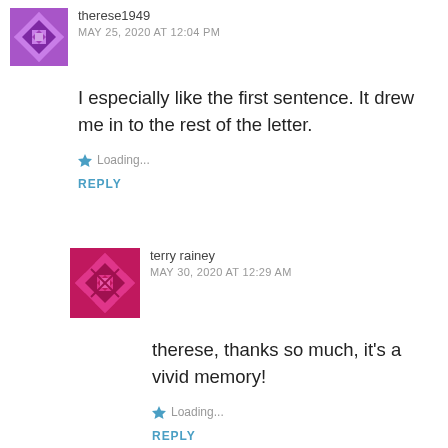[Figure (illustration): Purple avatar icon with geometric quilt-like pattern]
therese1949
MAY 25, 2020 AT 12:04 PM
I especially like the first sentence. It drew me in to the rest of the letter.
Loading...
REPLY
[Figure (illustration): Pink/magenta avatar icon with geometric quilt-like pattern]
terry rainey
MAY 30, 2020 AT 12:29 AM
therese, thanks so much, it's a vivid memory!
Loading...
REPLY